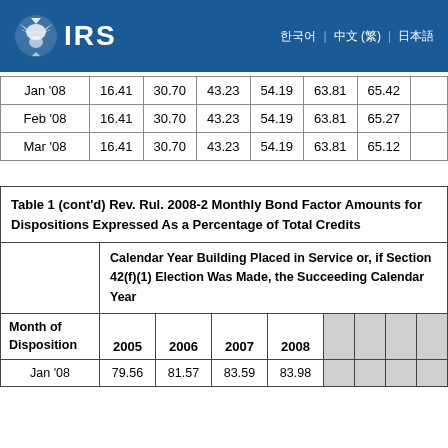IRS
|  | col1 | col2 | col3 | col4 | col5 | col6 | col7 |
| --- | --- | --- | --- | --- | --- | --- | --- |
| Jan '08 | 16.41 | 30.70 | 43.23 | 54.19 | 63.81 | 65.42 |  |
| Feb '08 | 16.41 | 30.70 | 43.23 | 54.19 | 63.81 | 65.27 |  |
| Mar '08 | 16.41 | 30.70 | 43.23 | 54.19 | 63.81 | 65.12 |  |
| Table 1 (cont'd) Rev. Rul. 2008-2 Monthly Bond Factor Amounts for Dispositions Expressed As a Percentage of Total Credits |
| --- |
|  | Calendar Year Building Placed in Service or, if Section 42(f)(1) Election Was Made, the Succeeding Calendar Year |
| Month of Disposition | 2005 | 2006 | 2007 | 2008 |  |  |  |  |
| Jan '08 | 79.56 | 81.57 | 83.59 | 83.98 |  |  |  |  |